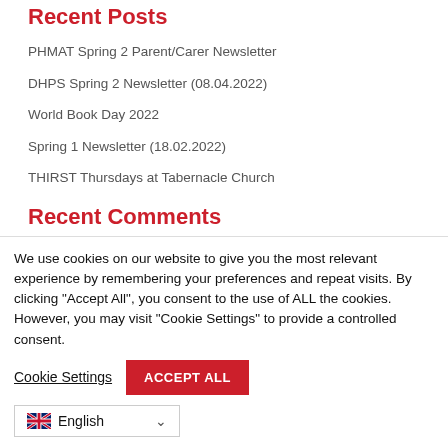Recent Posts
PHMAT Spring 2 Parent/Carer Newsletter
DHPS Spring 2 Newsletter (08.04.2022)
World Book Day 2022
Spring 1 Newsletter (18.02.2022)
THIRST Thursdays at Tabernacle Church
Recent Comments
We use cookies on our website to give you the most relevant experience by remembering your preferences and repeat visits. By clicking "Accept All", you consent to the use of ALL the cookies. However, you may visit "Cookie Settings" to provide a controlled consent.
Cookie Settings | ACCEPT ALL
English